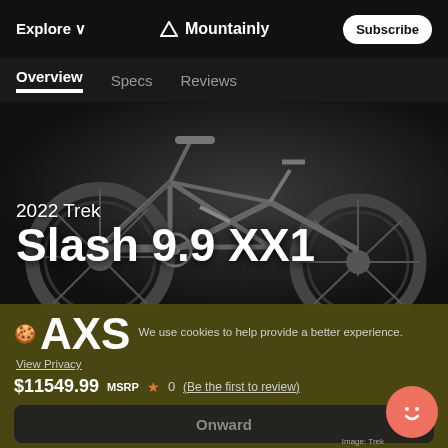Explore ∨   △ Mountainly   Subscribe
Overview   Specs   Reviews
[Figure (photo): Dark background photo of a 2022 Trek Slash 9.9 XX1 AXS mountain bike, showing the full bike in a dramatic low-key studio-style setting]
2022 Trek Slash 9.9 XX1 AXS
We use cookies to help provide a better experience. View Privacy
$11549.99 MSRP  ★ 0  (Be the first to review)
Onward
Where To Buy   +